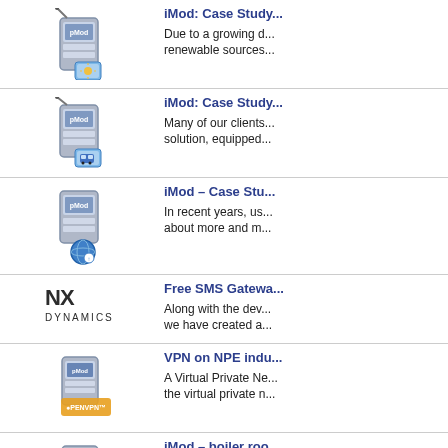iMod: Case Study - Due to a growing d... renewable sources...
iMod: Case Study - Many of our clients... solution, equipped...
iMod – Case Stu... - In recent years, us... about more and m...
Free SMS Gatewa... - Along with the dev... we have created a...
VPN on NPE indu... - A Virtual Private Ne... the virtual private n...
iMod – boiler roo... - By using the iMod... automatically, acco...
iMod Case Study...